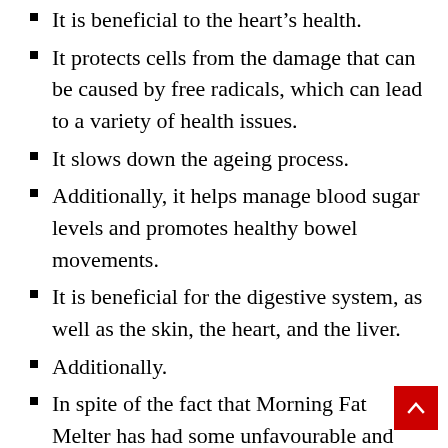It is beneficial to the heart's health.
It protects cells from the damage that can be caused by free radicals, which can lead to a variety of health issues.
It slows down the ageing process.
Additionally, it helps manage blood sugar levels and promotes healthy bowel movements.
It is beneficial for the digestive system, as well as the skin, the heart, and the liver.
Additionally.
In spite of the fact that Morning Fat Melter has had some unfavourable and mixed reviews, this supplement has been given lot of acclaim, and the vast majority of